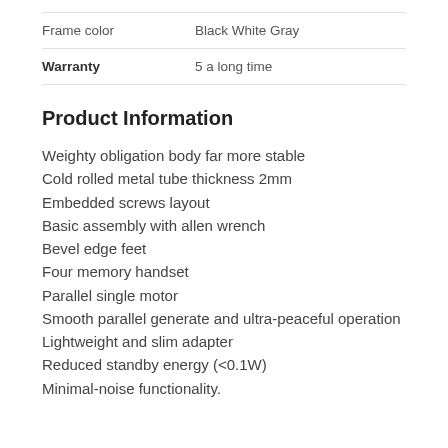| Attribute | Value |
| --- | --- |
| Frame color | Black White Gray |
| Warranty | 5 a long time |
Product Information
Weighty obligation body far more stable
Cold rolled metal tube thickness 2mm
Embedded screws layout
Basic assembly with allen wrench
Bevel edge feet
Four memory handset
Parallel single motor
Smooth parallel generate and ultra-peaceful operation
Lightweight and slim adapter
Reduced standby energy (<0.1W)
Minimal-noise functionality.